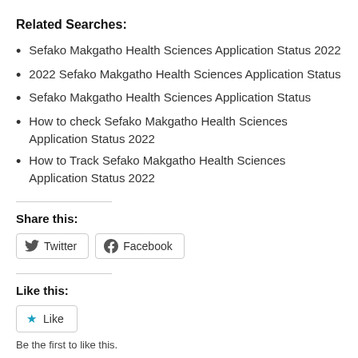Related Searches:
Sefako Makgatho Health Sciences Application Status 2022
2022 Sefako Makgatho Health Sciences Application Status
Sefako Makgatho Health Sciences Application Status
How to check Sefako Makgatho Health Sciences Application Status 2022
How to Track Sefako Makgatho Health Sciences Application Status 2022
Share this:
[Figure (other): Twitter and Facebook share buttons]
Like this:
[Figure (other): Like button with star icon]
Be the first to like this.